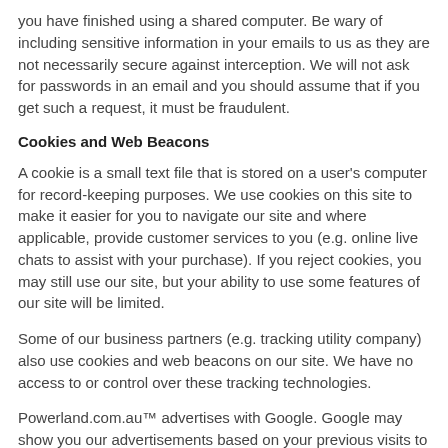you have finished using a shared computer. Be wary of including sensitive information in your emails to us as they are not necessarily secure against interception. We will not ask for passwords in an email and you should assume that if you get such a request, it must be fraudulent.
Cookies and Web Beacons
A cookie is a small text file that is stored on a user's computer for record-keeping purposes. We use cookies on this site to make it easier for you to navigate our site and where applicable, provide customer services to you (e.g. online live chats to assist with your purchase). If you reject cookies, you may still use our site, but your ability to use some features of our site will be limited.
Some of our business partners (e.g. tracking utility company) also use cookies and web beacons on our site. We have no access to or control over these tracking technologies.
Powerland.com.au™ advertises with Google. Google may show you our advertisements based on your previous visits to our site. If you do not wish to see these advertisements you can opt-out by visiting the Google advertising opt-out page.
Rate and Review